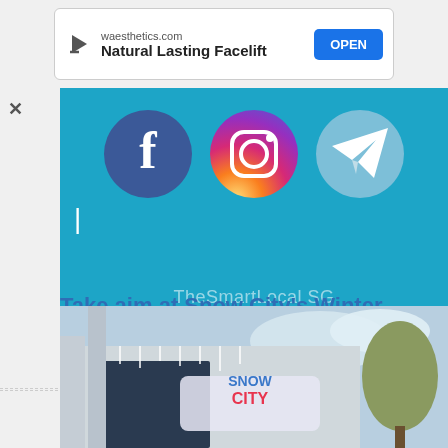[Figure (screenshot): Advertisement banner: waesthetics.com, Natural Lasting Facelift, with OPEN button]
[Figure (screenshot): Social media icons banner showing Facebook, Instagram, and Telegram icons on a blue background with TheSmartLocal SG watermark]
Take aim at Snow City's Winter Shooting Arena
[Figure (photo): Exterior photo of Snow City building with colorful Snow City sign, partial tree and sky visible]